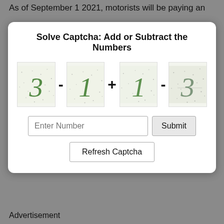As of September 1 2021, motorists will be paying an
[Figure (screenshot): CAPTCHA dialog box with title 'Solve Captcha: Add or Subtract the Numbers', showing four distorted number images (3, 1, 1, 3) with operators (-, +, -) between them, an 'Enter Number' input field, a 'Submit' button, and a 'Refresh Captcha' button]
Advertisement